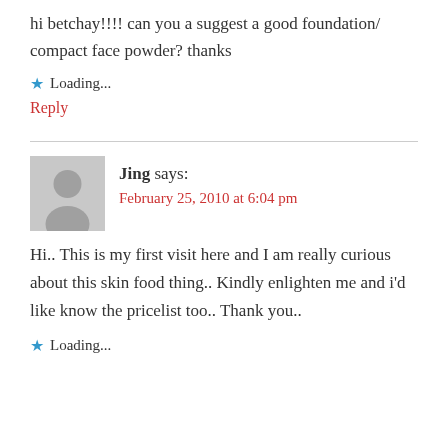hi betchay!!!! can you a suggest a good foundation/ compact face powder? thanks
Loading...
Reply
Jing says: February 25, 2010 at 6:04 pm
Hi.. This is my first visit here and I am really curious about this skin food thing.. Kindly enlighten me and i'd like know the pricelist too.. Thank you..
Loading...